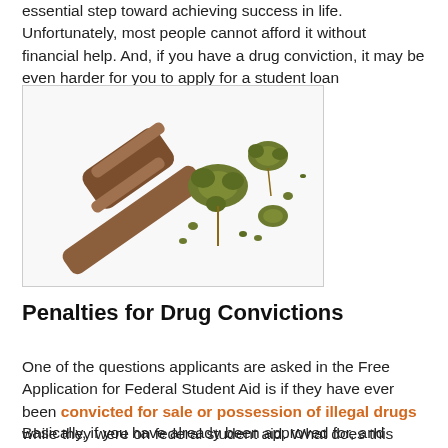essential step toward achieving success in life. Unfortunately, most people cannot afford it without financial help. And, if you have a drug conviction, it may be even harder for you to apply for a student loan
[Figure (photo): A wooden judge's gavel next to cannabis/marijuana buds on a white background]
Penalties for Drug Convictions
One of the questions applicants are asked in the Free Application for Federal Student Aid is if they have ever been convicted for sale or possession of illegal drugs while they were on federal student aid. What does this mean?
Basically, if you have already been approved for, and